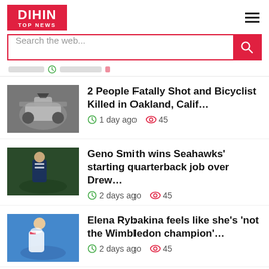DIHIN TOP NEWS
Search the web...
2 People Fatally Shot and Bicyclist Killed in Oakland, Calif... · 1 day ago · 45
Geno Smith wins Seahawks' starting quarterback job over Drew... · 2 days ago · 45
Elena Rybakina feels like she's 'not the Wimbledon champion'... · 2 days ago · 45